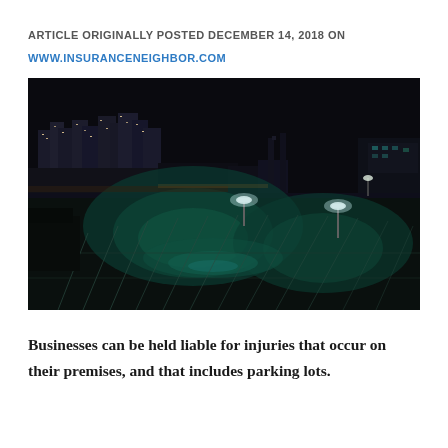ARTICLE ORIGINALLY POSTED DECEMBER 14, 2018 ON WWW.INSURANCENEIGHBOR.COM
[Figure (photo): Night-time aerial view of an empty parking lot with parking space lines, illuminated by two tall light poles casting teal/green glow on wet asphalt. City skyline with lit buildings visible in the dark background.]
Businesses can be held liable for injuries that occur on their premises, and that includes parking lots.